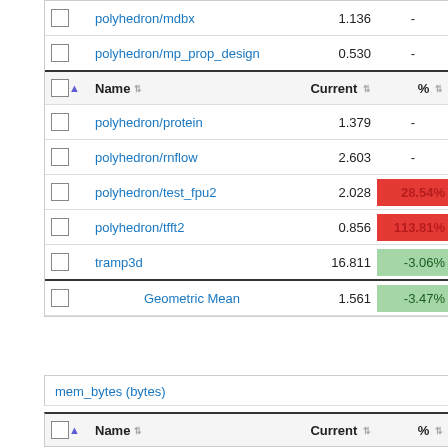|  | Name |  | Current | % |
| --- | --- | --- | --- | --- |
| ☐ | polyhedron/mdbx |  | 1.136 | - |
| ☐ | polyhedron/mp_prop_design |  | 0.530 | - |
| ☐▲ | Name |  | Current | % |
| ☐ | polyhedron/protein |  | 1.379 | - |
| ☐ | polyhedron/rnflow |  | 2.603 | - |
| ☐ | polyhedron/test_fpu2 |  | 2.028 | 28.54% |
| ☐ | polyhedron/tfft2 |  | 0.856 | 113.81% |
| ☐ | tramp3d |  | 16.811 | -3.06% |
| ☐ | Geometric Mean |  | 1.561 | -3.47% |
mem_bytes (bytes)
|  | Name |  | Current | % |
| --- | --- | --- | --- | --- |